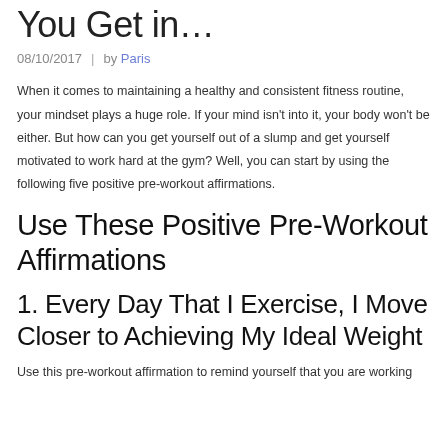You Get in…
08/10/2017  |  by Paris
When it comes to maintaining a healthy and consistent fitness routine, your mindset plays a huge role. If your mind isn't into it, your body won't be either. But how can you get yourself out of a slump and get yourself motivated to work hard at the gym? Well, you can start by using the following five positive pre-workout affirmations.
Use These Positive Pre-Workout Affirmations
1. Every Day That I Exercise, I Move Closer to Achieving My Ideal Weight
Use this pre-workout affirmation to remind yourself that you are working